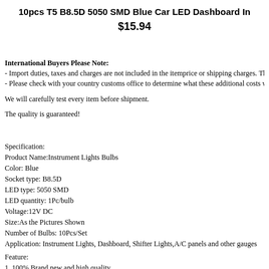10pcs T5 B8.5D 5050 SMD Blue Car LED Dashboard In
$15.94
International Buyers Please Note:
- Import duties, taxes and charges are not included in the itemprice or shipping charges. These char
- Please check with your country customs office to determine what these additional costs will be pr

We will carefully test every item before shipment.

The quality is guaranteed!
Specification:
Product Name:Instrument Lights Bulbs
Color: Blue
Socket type: B8.5D
LED type: 5050 SMD
LED quantity: 1Pc/bulb
Voltage:12V DC
Size:As the Pictures Shown
Number of Bulbs: 10Pcs/Set
Application: Instrument Lights, Dashboard, Shifter Lights,A/C panels and other gauges
Feature:
1. 100% Brand new and high quality.
2. Universal design suitable to many kinds of cars.
3. Long service life,low power consumption and high brightness.
4. Easy to install. Green and ecological design,safe and reliable.
5. Made by 5050 LED chip,Pure color with nice appearance.